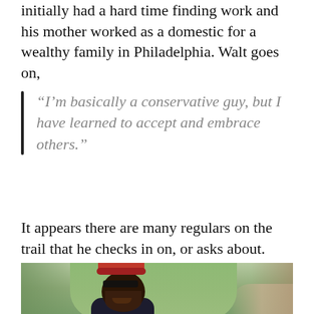initially had a hard time finding work and his mother worked as a domestic for a wealthy family in Philadelphia. Walt goes on,
“I’m basically a conservative guy, but I have learned to accept and embrace others.”
It appears there are many regulars on the trail that he checks in on, or asks about. They are true trail buddies whose lives revolve around the trail.
[Figure (photo): A smiling man wearing a red knit hat and sunglasses, dressed in dark clothing, standing on a wooded trail surrounded by autumn trees and rocky hillside.]